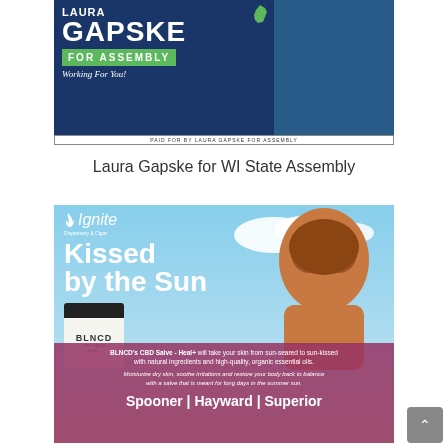[Figure (photo): Campaign advertisement for Laura Gapske for WI State Assembly showing her name in large text on a navy blue background with a green 'FOR ASSEMBLY' bar and cursive 'Working For You!' text, with a woman in a dark dress on the right side.]
Laura Gapske for WI State Assembly
[Figure (photo): Ignite Dispensary & Cigar advertisement featuring BLNCD CBD Salve - Heal+ product. Shows a sunburned woman at the beach with text 'Kissed by the Sun'. Bottom banner reads: BLNCD's CBD Salve - Heal+ will take your skin from sun-seared to sun-kissed with natural ingredients and high-quality, organic essential oils. Moisturize dry skin, soothe irritations and restore your body back to balance with a salve that is meant for long days in the summer sun. Spooner | Hayward | Superior]